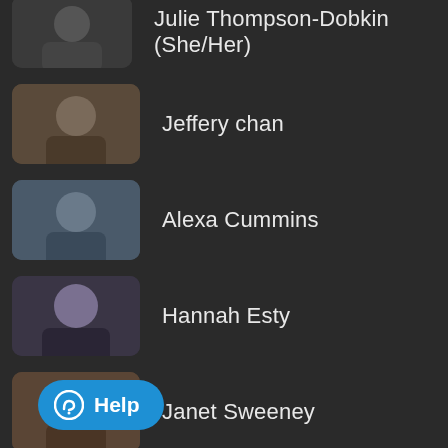Julie Thompson-Dobkin (She/Her)
Jeffery chan
Alexa Cummins
Hannah Esty
Janet Sweeney
Charles Mokotoff
ela Geiger